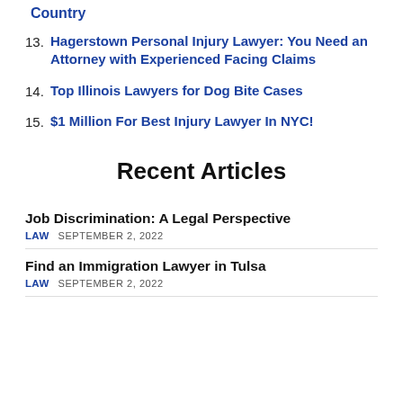Country
13. Hagerstown Personal Injury Lawyer: You Need an Attorney with Experienced Facing Claims
14. Top Illinois Lawyers for Dog Bite Cases
15. $1 Million For Best Injury Lawyer In NYC!
Recent Articles
Job Discrimination: A Legal Perspective
LAW  SEPTEMBER 2, 2022
Find an Immigration Lawyer in Tulsa
LAW  SEPTEMBER 2, 2022